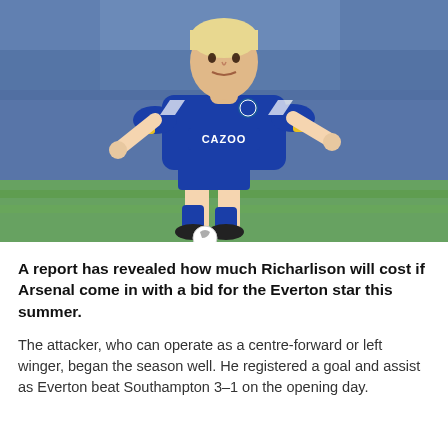[Figure (photo): Richarlison, an Everton footballer with bleached blonde hair, wearing a blue Everton kit with Cazoo sponsor, dribbling a ball in a stadium with a blurred crowd background.]
A report has revealed how much Richarlison will cost if Arsenal come in with a bid for the Everton star this summer.
The attacker, who can operate as a centre-forward or left winger, began the season well. He registered a goal and assist as Everton beat Southampton 3-1 on the opening day.